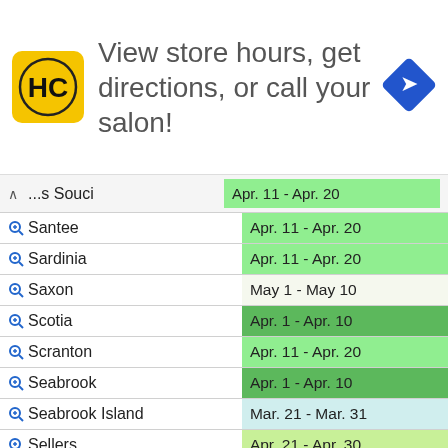[Figure (infographic): HC Salon advertisement banner: HC logo (black on yellow), text 'View store hours, get directions, or call your salon!', blue navigation diamond icon]
| Location | Date Range |
| --- | --- |
| ↑ ...s Souci | Apr. 11 - Apr. 20 |
| Santee | Apr. 11 - Apr. 20 |
| Sardinia | Apr. 11 - Apr. 20 |
| Saxon | May 1 - May 10 |
| Scotia | Apr. 1 - Apr. 10 |
| Scranton | Apr. 11 - Apr. 20 |
| Seabrook | Apr. 1 - Apr. 10 |
| Seabrook Island | Mar. 21 - Mar. 31 |
| Sellers | Apr. 21 - Apr. 30 |
| Seneca | May 1 - May 10 |
| Seven Oaks | Apr. 11 - Apr. 20 |
| Sharon | May 1 - May 10 |